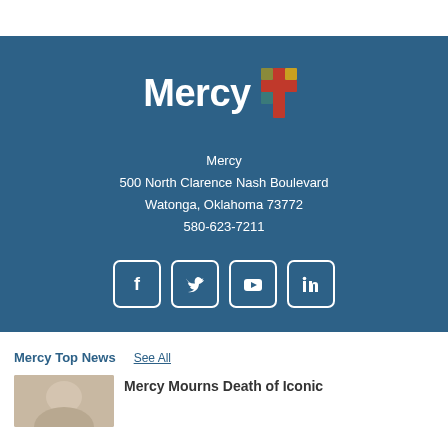[Figure (logo): Mercy logo with colorful cross icon and white text 'Mercy']
Mercy
500 North Clarence Nash Boulevard
Watonga, Oklahoma 73772
580-623-7211
[Figure (infographic): Social media icons: Facebook, Twitter, YouTube, LinkedIn in white rounded square borders]
Mercy Top News
See All
[Figure (photo): News article thumbnail image]
Mercy Mourns Death of Iconic